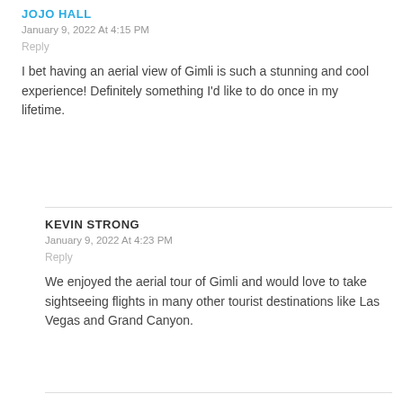JOJO HALL
January 9, 2022 At 4:15 PM
Reply
I bet having an aerial view of Gimli is such a stunning and cool experience! Definitely something I'd like to do once in my lifetime.
KEVIN STRONG
January 9, 2022 At 4:23 PM
Reply
We enjoyed the aerial tour of Gimli and would love to take sightseeing flights in many other tourist destinations like Las Vegas and Grand Canyon.